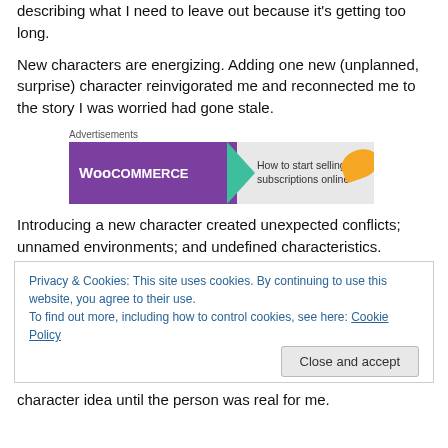describing what I need to leave out because it's getting too long.
New characters are energizing. Adding one new (unplanned, surprise) character reinvigorated me and reconnected me to the story I was worried had gone stale.
[Figure (screenshot): WooCommerce advertisement banner: 'How to start selling subscriptions online']
Introducing a new character created unexpected conflicts; unnamed environments; and undefined characteristics.
Privacy & Cookies: This site uses cookies. By continuing to use this website, you agree to their use.
To find out more, including how to control cookies, see here: Cookie Policy
character idea until the person was real for me.